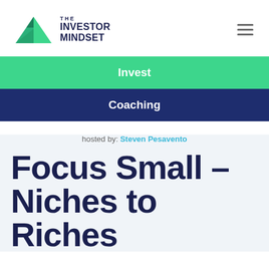[Figure (logo): The Investor Mindset logo with green geometric triangles and dark navy text]
Invest
Coaching
hosted by: Steven Pesavento
Focus Small – Niches to Riches